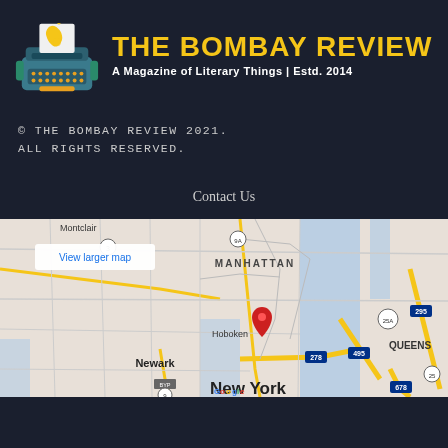[Figure (logo): The Bombay Review logo: typewriter with India map silhouette, yellow title text 'THE BOMBAY REVIEW', subtitle 'A Magazine of Literary Things | Estd. 2014']
© THE BOMBAY REVIEW 2021. ALL RIGHTS RESERVED.
Contact Us
[Figure (map): Google Map showing Manhattan, New York area with red location pin, showing Newark, Hoboken, Queens, and surrounding areas. 'View larger map' link visible.]